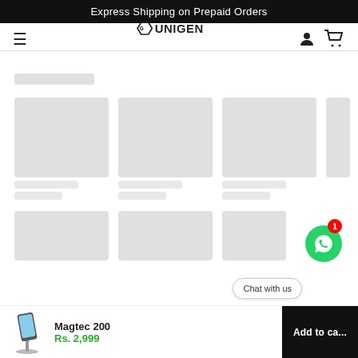Express Shipping on Prepaid Orders
[Figure (logo): UNIGEN hexagonal logo with text, navigation hamburger menu and user/cart icons. Number 200 shown below logo.]
[Figure (screenshot): Loading skeleton placeholder blocks for product page content — grey rectangular blocks arranged in a grid pattern on white background.]
Magtec 200
Rs. 2,999
Chat with us
Add to ca...